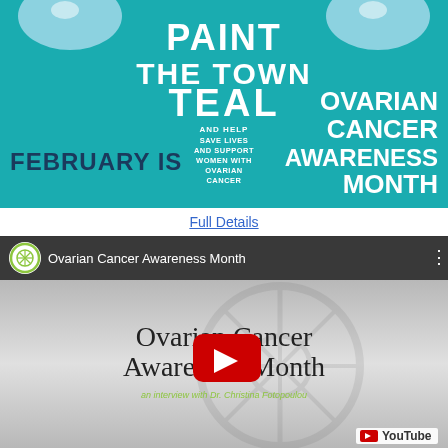[Figure (illustration): Teal banner for February Ovarian Cancer Awareness Month. Shows 'Paint the Town Teal' campaign with decorative bubbles at top, text 'FEBRUARY IS' in dark blue on left, 'AND HELP / SAVE LIVES AND SUPPORT WOMEN WITH OVARIAN CANCER' in center, and 'OVARIAN CANCER AWARENESS MONTH' in white on right.]
Full Details
[Figure (screenshot): YouTube video embed showing 'Ovarian Cancer Awareness Month' video with YouTube play button overlay, subtitle 'an interview with Dr. Christina Fotopoulou', channel logo in top bar, YouTube logo in bottom right corner.]